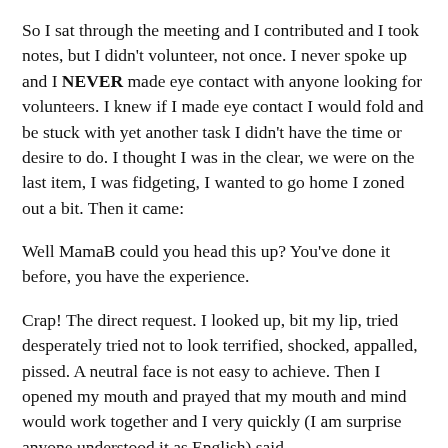So I sat through the meeting and I contributed and I took notes, but I didn't volunteer, not once. I never spoke up and I NEVER made eye contact with anyone looking for volunteers. I knew if I made eye contact I would fold and be stuck with yet another task I didn't have the time or desire to do. I thought I was in the clear, we were on the last item, I was fidgeting, I wanted to go home I zoned out a bit. Then it came:
Well MamaB could you head this up? You've done it before, you have the experience.
Crap! The direct request. I looked up, bit my lip, tried desperately tried not to look terrified, shocked, appalled, pissed. A neutral face is not easy to achieve. Then I opened my mouth and prayed that my mouth and mind would work together and I very quickly (I am surprise anyone understood it as English) said.
No,Ireallycan'ttakeonanythingmorerightnow. I'm sorry.
My heart fluttered and raced. I swore the whole table sat stunned for what seemed like and eternity and then it was over. Someone